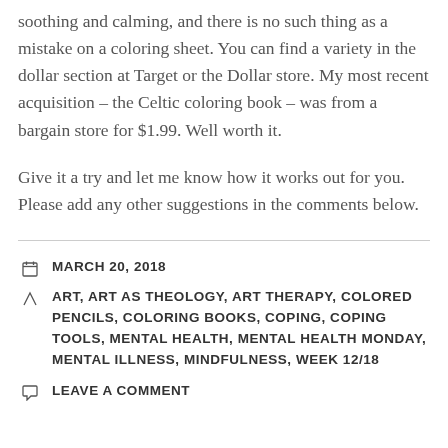soothing and calming, and there is no such thing as a mistake on a coloring sheet. You can find a variety in the dollar section at Target or the Dollar store. My most recent acquisition – the Celtic coloring book – was from a bargain store for $1.99. Well worth it.
Give it a try and let me know how it works out for you. Please add any other suggestions in the comments below.
MARCH 20, 2018
ART, ART AS THEOLOGY, ART THERAPY, COLORED PENCILS, COLORING BOOKS, COPING, COPING TOOLS, MENTAL HEALTH, MENTAL HEALTH MONDAY, MENTAL ILLNESS, MINDFULNESS, WEEK 12/18
LEAVE A COMMENT